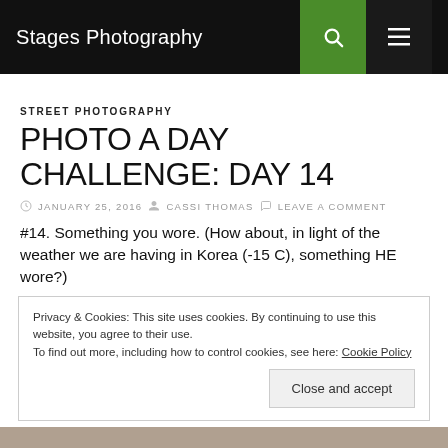Stages Photography
STREET PHOTOGRAPHY
PHOTO A DAY CHALLENGE: DAY 14
JANUARY 25, 2016  CASSI THOMAS  LEAVE A COMMENT
#14. Something you wore. (How about, in light of the weather we are having in Korea (-15 C), something HE wore?)
Privacy & Cookies: This site uses cookies. By continuing to use this website, you agree to their use.
To find out more, including how to control cookies, see here: Cookie Policy
Close and accept
[Figure (photo): Bottom of page showing top of a photo]